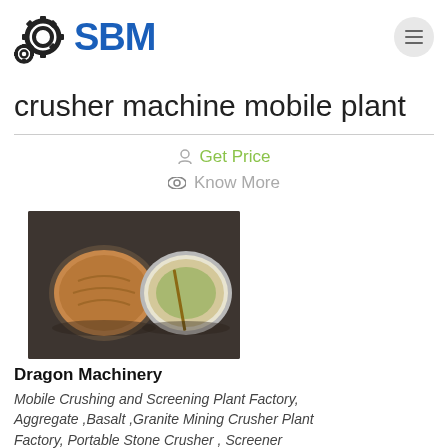[Figure (logo): SBM logo with gear icon and blue SBM text, plus hamburger menu button]
crusher machine mobile plant
Get Price
Know More
[Figure (photo): Photo showing two plates of food on a dark surface]
Dragon Machinery
Mobile Crushing and Screening Plant Factory, Aggregate ,Basalt ,Granite Mining Crusher Plant Factory, Portable Stone Crusher , Screener